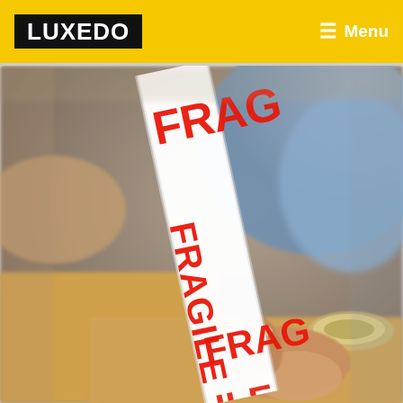LUXEDO | Menu
[Figure (photo): A person applying white fragile tape with red letters reading FRAGILE FRAG to a cardboard box. Close-up shot showing hands and the tape roll being peeled and applied.]